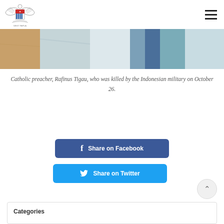[Figure (logo): School crest/emblem logo with eagle wings, shield with red top and blue vertical stripes, and banner text]
[Figure (photo): Close-up photo of people in white and colored clothing, partial view]
Catholic preacher, Rafinus Tigau, who was killed by the Indonesian military on October 26.
Share on Facebook
Share on Twitter
Categories